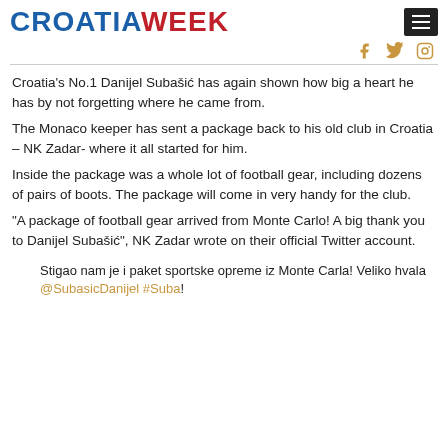CROATIAWEEK
Croatia's No.1 Danijel Subašić has again shown how big a heart he has by not forgetting where he came from.
The Monaco keeper has sent a package back to his old club in Croatia – NK Zadar- where it all started for him.
Inside the package was a whole lot of football gear, including dozens of pairs of boots. The package will come in very handy for the club.
“A package of football gear arrived from Monte Carlo! A big thank you to Danijel Subašić”, NK Zadar wrote on their official Twitter account.
Stigao nam je i paket sportske opreme iz Monte Carla! Veliko hvala @SubasicDanijel #Suba!